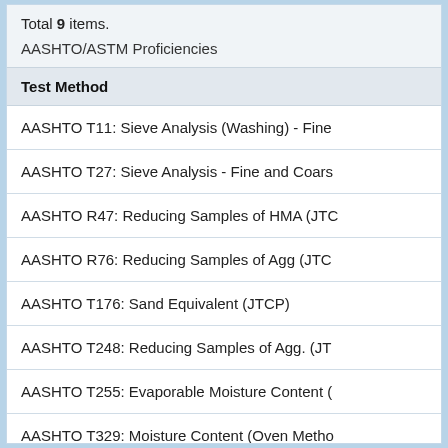Total 9 items.
AASHTO/ASTM Proficiencies
| Test Method |
| --- |
| AASHTO T11: Sieve Analysis (Washing) - Fine |
| AASHTO T27: Sieve Analysis - Fine and Coars |
| AASHTO R47: Reducing Samples of HMA (JTC |
| AASHTO R76: Reducing Samples of Agg (JTC |
| AASHTO T176: Sand Equivalent (JTCP) |
| AASHTO T248: Reducing Samples of Agg. (JT |
| AASHTO T255: Evaporable Moisture Content ( |
| AASHTO T329: Moisture Content (Oven Metho |
| AASHTO T335: Percentage of Fracture (JTCP) |